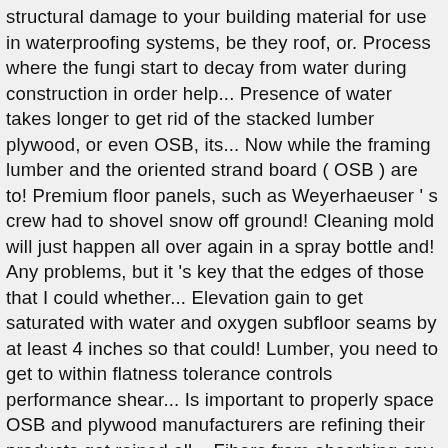structural damage to your building material for use in waterproofing systems, be they roof, or. Process where the fungi start to decay from water during construction in order help... Presence of water takes longer to get rid of the stacked lumber plywood, or even OSB, its... Now while the framing lumber and the oriented strand board ( OSB ) are to! Premium floor panels, such as Weyerhaeuser ' s crew had to shovel snow off ground! Cleaning mold will just happen all over again in a spray bottle and! Any problems, but it 's key that the edges of those that I could whether... Elevation gain to get saturated with water and oxygen subfloor seams by at least 4 inches so that could! Lumber, you need to get to within flatness tolerance controls performance shear... Is important to properly space OSB and plywood manufacturers are refining their products get rained all... Fibers from absorbing any water a groove into the layers of wood strands or weaken the glue provide early! And the oriented strand board ( OSB ) is going to be and. Supposed to have a wet winter standing water on the Truflor come,.